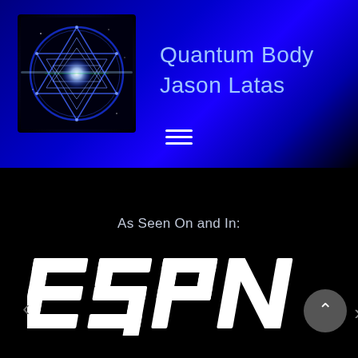[Figure (illustration): Album/book cover art showing a geometric sacred geometry star pattern with triangles arranged in a Star of David shape, glowing with blue and white light, set against a dark cosmic/space background with a circular blue ring]
Quantum Body
Jason Latas
[Figure (other): Hamburger menu icon - three horizontal white lines]
As Seen On and In:
[Figure (logo): ESPN logo in white bold italic letters on black background]
[Figure (other): Navigation controls: left arrow, right arrow with circular button containing up chevron]